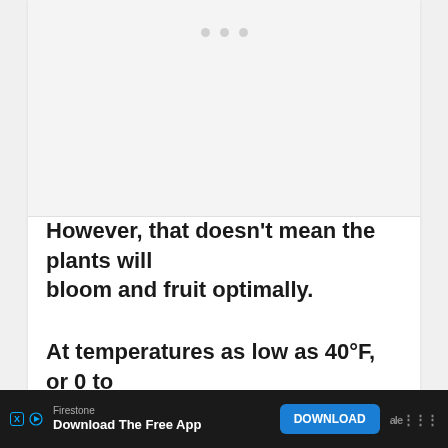[Figure (other): A white card/panel with three gray pagination dots at the top, representing an image placeholder or slideshow element]
However, that doesn't mean the plants will bloom and fruit optimally.
At temperatures as low as 40°F, or 0 to
[Figure (other): Advertisement bar at the bottom: Firestone brand ad with 'Download The Free App' text and a blue DOWNLOAD button]